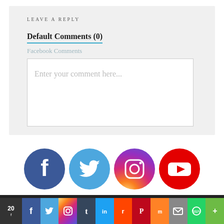LEAVE A REPLY
Default Comments (0)
Facebook Comments
Enter your comment here...
[Figure (infographic): Four social media icons in circles: Facebook (dark blue), Twitter (light blue), Instagram (gradient purple/orange), YouTube (red)]
[Figure (infographic): Social sharing bar with count 20, icons for Facebook, Twitter, Instagram, Tumblr, LinkedIn, Reddit, Pinterest, Mix, Email, WhatsApp, More]